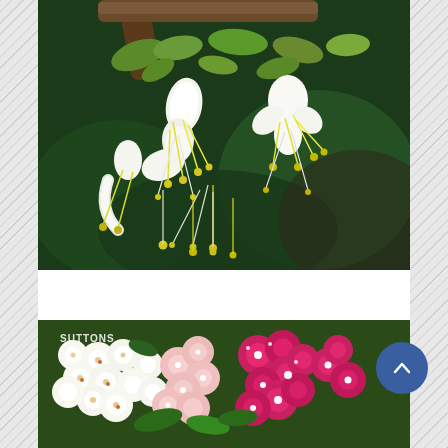[Figure (photo): Close-up photograph of white honeysuckle flowers with yellow stamens hanging from a branch with green leaves, against a dark green blurred background.]
Climbing Plants Growing Guide
[Figure (photo): Photograph of white and pink/magenta alyssum flowers in bloom, with a Suttons seed brand watermark visible in the top left corner.]